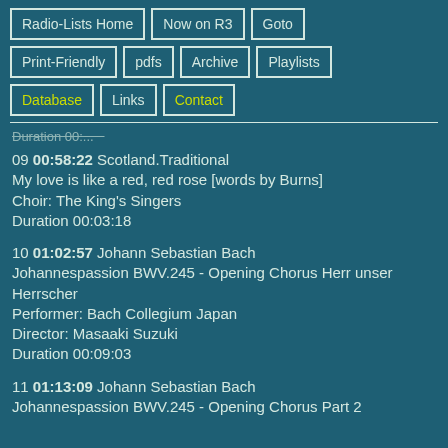Radio-Lists Home
Now on R3
Goto
Print-Friendly
pdfs
Archive
Playlists
Database
Links
Contact
Duration 00:...
09 00:58:22 Scotland.Traditional
My love is like a red, red rose [words by Burns]
Choir: The King's Singers
Duration 00:03:18
10 01:02:57 Johann Sebastian Bach
Johannespassion BWV.245 - Opening Chorus Herr unser Herrscher
Performer: Bach Collegium Japan
Director: Masaaki Suzuki
Duration 00:09:03
11 01:13:09 Johann Sebastian Bach
Johannespassion BWV.245 - Opening Chorus Part 2